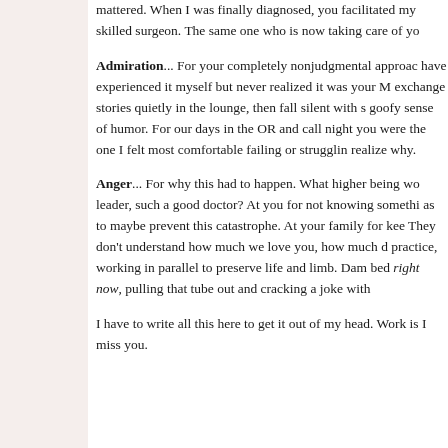mattered. When I was finally diagnosed, you facilitated my skilled surgeon. The same one who is now taking care of yo
Admiration... For your completely nonjudgmental approac have experienced it myself but never realized it was your M exchange stories quietly in the lounge, then fall silent with s goofy sense of humor. For our days in the OR and call night you were the one I felt most comfortable failing or strugglin realize why.
Anger... For why this had to happen. What higher being wo leader, such a good doctor? At you for not knowing somethi as to maybe prevent this catastrophe. At your family for kee They don't understand how much we love you, how much d practice, working in parallel to preserve life and limb. Dam bed right now, pulling that tube out and cracking a joke with
I have to write all this here to get it out of my head. Work is I miss you.